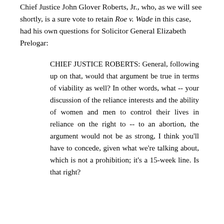Chief Justice John Glover Roberts, Jr., who, as we will see shortly, is a sure vote to retain Roe v. Wade in this case, had his own questions for Solicitor General Elizabeth Prelogar:
CHIEF JUSTICE ROBERTS: General, following up on that, would that argument be true in terms of viability as well? In other words, what -- your discussion of the reliance interests and the ability of women and men to control their lives in reliance on the right to -- to an abortion, the argument would not be as strong, I think you'll have to concede, given what we're talking about, which is not a prohibition; it's a 15-week line. Is that right?